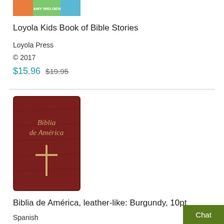[Figure (photo): Top portion of a children's book cover with colorful illustration and text 'Amy Welgen']
Loyola Kids Book of Bible Stories
Loyola Press
© 2017
$15.96  $19.95
[Figure (photo): Book cover of 'Biblia de América' in burgundy leather-like binding with gold cross emblem]
Biblia de América, leather-like: Burgundy, 10pt
Spanish